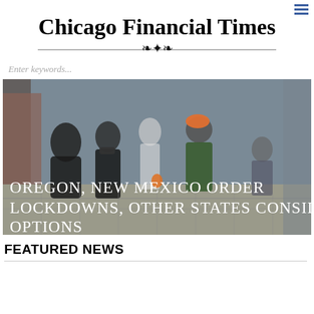Chicago Financial Times
Enter keywords...
[Figure (photo): People walking on a sidewalk, some wearing masks. Overlaid text reads: OREGON, NEW MEXICO ORDER LOCKDOWNS, OTHER STATES CONSIDER OPTIONS]
FEATURED NEWS